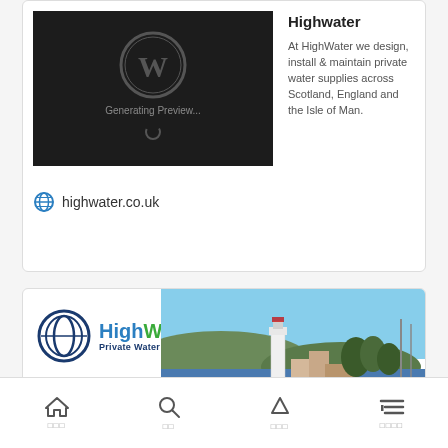[Figure (screenshot): WordPress preview card showing a dark preview image with WordPress logo and 'Generating Preview...' text, alongside Highwater title and description, with highwater.co.uk URL]
Highwater
At HighWater we design, install & maintain private water supplies across Scotland, England and the Isle of Man.
highwater.co.uk
[Figure (screenshot): HighWater Private Water Supplies banner with logo on left and scenic photo of lighthouse and water on right]
HighWater designs, installs and maintains private water supplies across Scotland and the North of England.
placeholder text in script characters
home / search / top / menu icons navigation bar